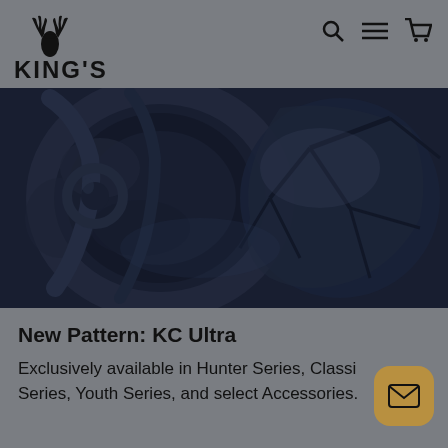[Figure (logo): King's camo brand logo with deer/elk antler silhouette above bold text reading KING'S]
[Figure (photo): Close-up photo of hunting bow and camo-patterned gear in dark blue-grey and black tones, showing the KC Ultra camo pattern on equipment]
New Pattern: KC Ultra
Exclusively available in Hunter Series, Classic Series, Youth Series, and select Accessories.